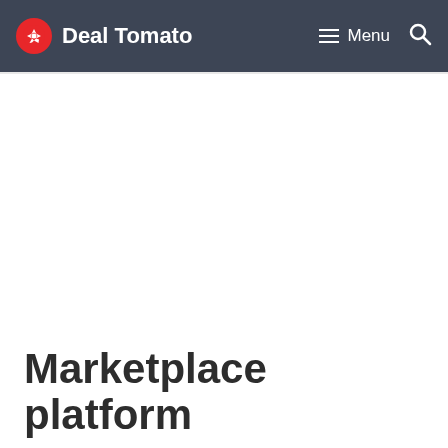Deal Tomato — Menu
Marketplace platform